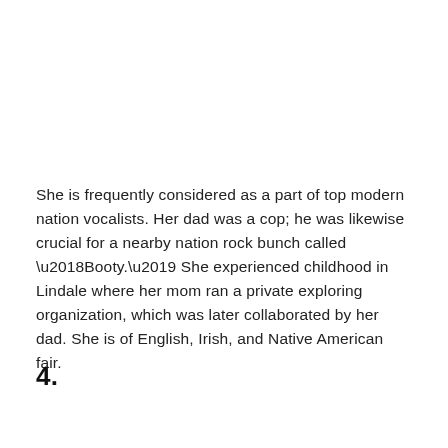She is frequently considered as a part of top modern nation vocalists. Her dad was a cop; he was likewise crucial for a nearby nation rock bunch called ‘Booty.’ She experienced childhood in Lindale where her mom ran a private exploring organization, which was later collaborated by her dad. She is of English, Irish, and Native American fair.
4.